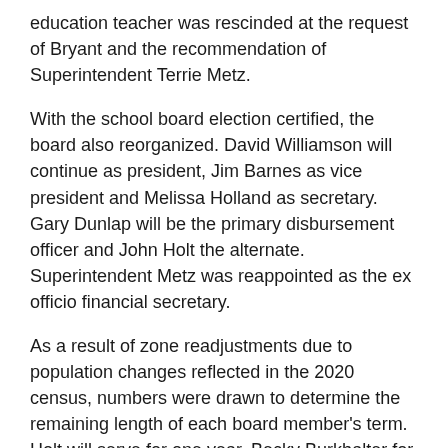education teacher was rescinded at the request of Bryant and the recommendation of Superintendent Terrie Metz.
With the school board election certified, the board also reorganized. David Williamson will continue as president, Jim Barnes as vice president and Melissa Holland as secretary. Gary Dunlap will be the primary disbursement officer and John Holt the alternate. Superintendent Metz was reappointed as the ex officio financial secretary.
As a result of zone readjustments due to population changes reflected in the 2020 census, numbers were drawn to determine the remaining length of each board member's term. Holt will serve for one year, Becky Burkhalter for two, Gary Dunlap for three, Jim Barnes and Melissa Holland for four and David Williamson for five years.
Due to the resignation of board member Randall Bolinger at the special June 6 meeting, it was announced that the board would need to appoint a person to fill the vacant Zone 4